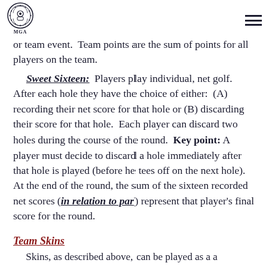Saddlebrooke Ranch MGA
or team event.  Team points are the sum of points for all players on the team.
Sweet Sixteen:  Players play individual, net golf. After each hole they have the choice of either:  (A) recording their net score for that hole or (B) discarding their score for that hole.  Each player can discard two holes during the course of the round.  Key point: A player must decide to discard a hole immediately after that hole is played (before he tees off on the next hole).  At the end of the round, the sum of the sixteen recorded net scores (in relation to par) represent that player's final score for the round.
Team Skins
Skins, as described above, can be played as a a